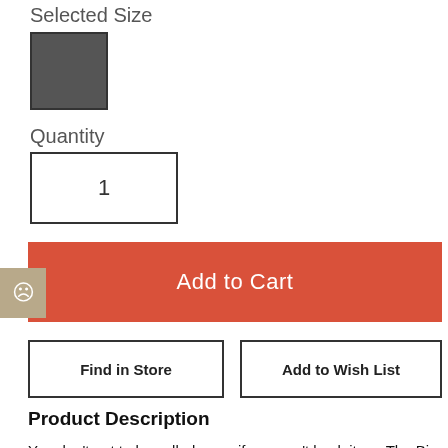Selected Size
[Figure (other): Dark grey square swatch representing selected size option]
Quantity
1
Add to Cart
Find in Store
Add to Wish List
Product Description
You don't get to be called a pro if you can't back it up. The Big Idea Design Ti Pocket Pro : The Auto Adjusting EDC Pen proudly wears the title by accepting over 100+ refills in a convenient and compact package. It's not